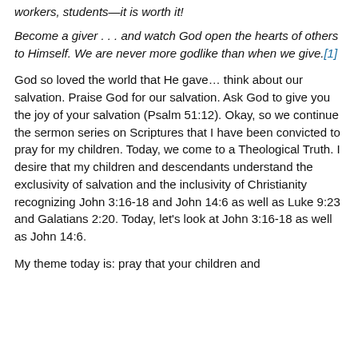workers, students—it is worth it!
Become a giver . . . and watch God open the hearts of others to Himself. We are never more godlike than when we give.[1]
God so loved the world that He gave… think about our salvation. Praise God for our salvation. Ask God to give you the joy of your salvation (Psalm 51:12). Okay, so we continue the sermon series on Scriptures that I have been convicted to pray for my children. Today, we come to a Theological Truth. I desire that my children and descendants understand the exclusivity of salvation and the inclusivity of Christianity recognizing John 3:16-18 and John 14:6 as well as Luke 9:23 and Galatians 2:20. Today, let's look at John 3:16-18 as well as John 14:6.
My theme today is: pray that your children and